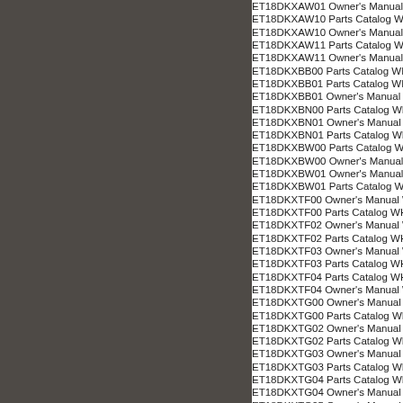[Figure (other): Gray/dark panel on left side of page]
ET18DKXAW01 Owner's Manual W
ET18DKXAW10 Parts Catalog WH
ET18DKXAW10 Owner's Manual W
ET18DKXAW11 Parts Catalog WH
ET18DKXAW11 Owner's Manual W
ET18DKXBB00 Parts Catalog WHI
ET18DKXBB01 Parts Catalog WHI
ET18DKXBB01 Owner's Manual W
ET18DKXBN00 Parts Catalog WHI
ET18DKXBN01 Owner's Manual W
ET18DKXBN01 Parts Catalog WHI
ET18DKXBW00 Parts Catalog WH
ET18DKXBW00 Owner's Manual W
ET18DKXBW01 Owner's Manual W
ET18DKXBW01 Parts Catalog WH
ET18DKXTF00 Owner's Manual W
ET18DKXTF00 Parts Catalog WHI
ET18DKXTF02 Owner's Manual W
ET18DKXTF02 Parts Catalog WHI
ET18DKXTF03 Owner's Manual W
ET18DKXTF03 Parts Catalog WHI
ET18DKXTF04 Parts Catalog WHI
ET18DKXTF04 Owner's Manual W
ET18DKXTG00 Owner's Manual W
ET18DKXTG00 Parts Catalog WHI
ET18DKXTG02 Owner's Manual W
ET18DKXTG02 Parts Catalog WHI
ET18DKXTG03 Owner's Manual W
ET18DKXTG03 Parts Catalog WHI
ET18DKXTG04 Parts Catalog WHI
ET18DKXTG04 Owner's Manual W
ET18DKXTG05 Owner's Manual W
ET18DKXTG05 Parts Catalog WHI
ET18DKXTM00 Parts Catalog WH
ET18DKXTM00 Owner's Manual W
ET18DKXTM02 Owner's Manual W
ET18DKXTM02 Parts Catalog WH
ET18DKXTM03 Owner's M...